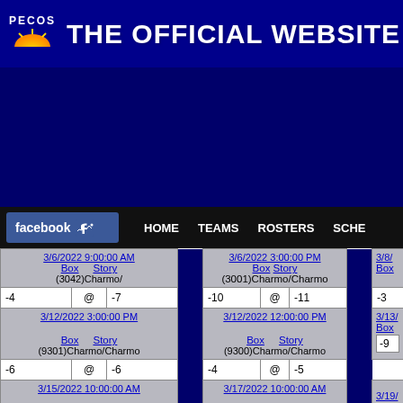PECOS - THE OFFICIAL WEBSITE OF T...
[Figure (screenshot): Dark blue navigation bar area with facebook like button, HOME, TEAMS, ROSTERS, SCHE... nav links]
| Game Info |  | Game Info |  | Game Info (partial) |
| --- | --- | --- | --- | --- |
| 3/6/2022 9:00:00 AM Box Story (3042)Charmo/ |  | 3/6/2022 3:00:00 PM Box Story (3001)Charmo/Charmo |  | 3/8/... |
| -4 @ -7 |  | -10 @ -11 |  | -3 |
| 3/12/2022 3:00:00 PM Box Story (9301)Charmo/Charmo |  | 3/12/2022 12:00:00 PM Box Story (9300)Charmo/Charmo |  | 3/13/... Box |
| -6 @ -6 |  | -4 @ -5 |  | -9 |
| 3/15/2022 10:00:00 AM |  | 3/17/2022 10:00:00 AM |  | 3/19/... |